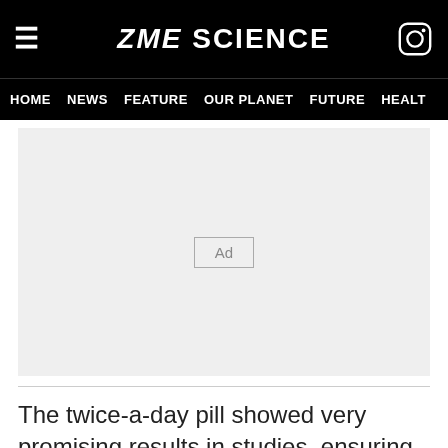ZME SCIENCE
HOME  NEWS  FEATURE  OUR PLANET  FUTURE  HEALTH
[Figure (other): Advertisement placeholder area with 'Ad' label in center]
The twice-a-day pill showed very promising results in studies, ensuring that 3 out of every 4 patients with advanced lung cancer lived past the first year, and over half of them lived